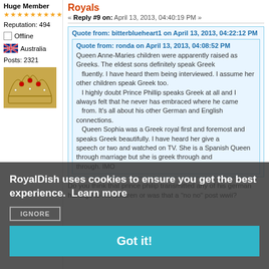Huge Member
★★★★★★★★★
Reputation: 494
Offline
Australia
Posts: 2321
[Figure (photo): A decorative royal crown with gemstones]
Royals
« Reply #9 on: April 13, 2013, 04:40:19 PM »
Quote from: bitterblueheart1 on April 13, 2013, 04:22:12 PM
Quote from: ronda on April 13, 2013, 04:08:52 PM
Queen Anne-Maries children were apparently raised as Greeks. The eldest sons definitely speak Greek fluently. I have heard them being interviewed. I assume her other children speak Greek too.
    I highly doubt Prince Phillip speaks Greek at all and I always felt that he never has embraced where he came from. It's all about his other German and English connections.
    Queen Sophia was a Greek royal first and foremost and speaks Greek beautifully. I have heard her give a speech or two and watched on TV. She is a Spanish Queen through marriage but she is greek through and through. IMO
Do you think that prince philip transmitted any of his german heritage to his children or was that a "no no" post wwii?
RoyalDish uses cookies to ensure you get the best experience.  Learn more
IGNORE
Got it!